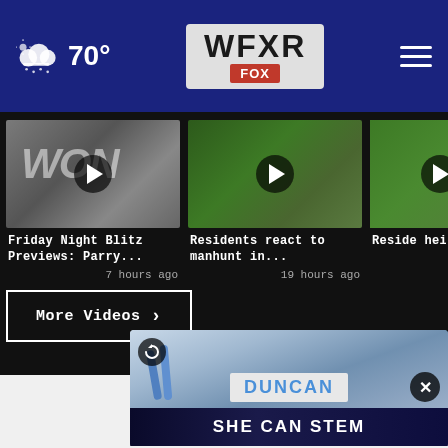70° WFXR FOX
[Figure (screenshot): Video thumbnail 1: Friday Night Blitz Previews with WON text overlay and play button]
Friday Night Blitz Previews: Parry...
7 hours ago
[Figure (screenshot): Video thumbnail 2: Residents react to manhunt, outdoor greenery scene with play button]
Residents react to manhunt in...
19 hours ago
[Figure (screenshot): Video thumbnail 3: Residents at height, partially cropped]
Residents height...
More Videos ›
[Figure (screenshot): Bottom video player showing Duncan car dealership sign with replay and close button, SHE CAN STEM banner below]